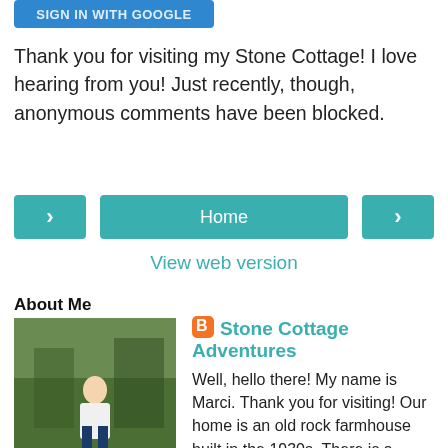[Figure (screenshot): Partial blue 'Sign in with Google' button at the top of the page]
Thank you for visiting my Stone Cottage! I love hearing from you! Just recently, though, anonymous comments have been blocked.
[Figure (screenshot): Navigation row with left arrow button (teal), Home button (teal, center), and right arrow button (teal)]
View web version
About Me
[Figure (photo): Photo of a woman (Marci) standing outdoors in front of trees/foliage]
Stone Cottage Adventures
Well, hello there! My name is Marci. Thank you for visiting! Our home is an old rock farmhouse built in the 1930s. There is a greenhouse, a vegetable garden, herbs, several flower beds, lots of hobbies and too many pets. I hope you enjoy this humble little blog! Some of my posts may contain affiliate links and I will receive a small commission if you make a purchase after clicking on my link. Please note my blog is a product from Google who uses cookies to provide ad content relevant to each